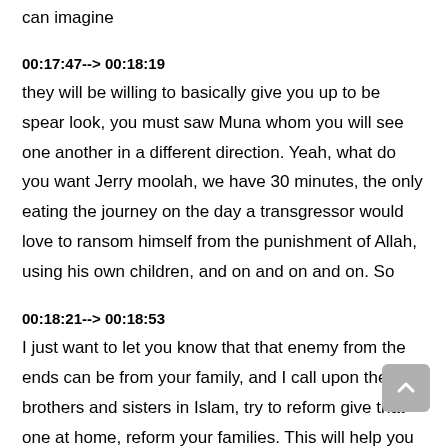can imagine
00:17:47--> 00:18:19
they will be willing to basically give you up to be spear look, you must saw Muna whom you will see one another in a different direction. Yeah, what do you want Jerry moolah, we have 30 minutes, the only eating the journey on the day a transgressor would love to ransom himself from the punishment of Allah, using his own children, and on and on and on. So
00:18:21--> 00:18:53
I just want to let you know that that enemy from the ends can be from your family, and I call upon the brothers and sisters in Islam, try to reform give that one at home, reform your families. This will help you to become better Muslims. Also they can be friends on school, in